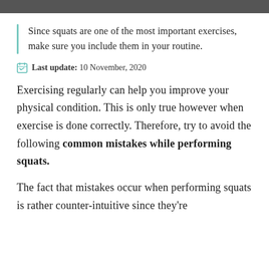[Figure (photo): Dark header bar image at top of page]
Since squats are one of the most important exercises, make sure you include them in your routine.
Last update: 10 November, 2020
Exercising regularly can help you improve your physical condition. This is only true however when exercise is done correctly. Therefore, try to avoid the following common mistakes while performing squats.
The fact that mistakes occur when performing squats is rather counter-intuitive since they're